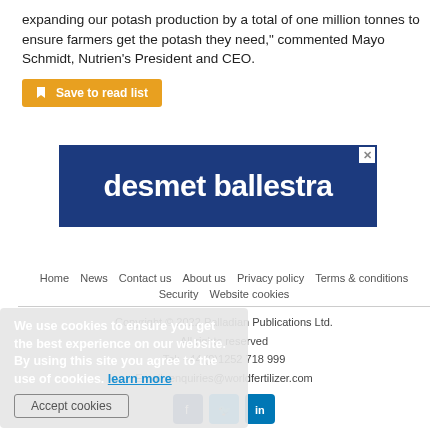expanding our potash production by a total of one million tonnes to ensure farmers get the potash they need," commented Mayo Schmidt, Nutrien's President and CEO.
Save to read list
[Figure (logo): desmet ballestra advertisement banner — white text on dark blue background]
Home | News | Contact us | About us | Privacy policy | Terms & conditions | Security | Website cookies
Copyright © 2022 Palladian Publications Ltd. All rights reserved
Tel: +44 (0)1252 718 999
Email: enquiries@worldfertilizer.com
We use cookies to ensure you get the best experience on our website. By using this site you agree to the use of cookies. learn more
Accept cookies